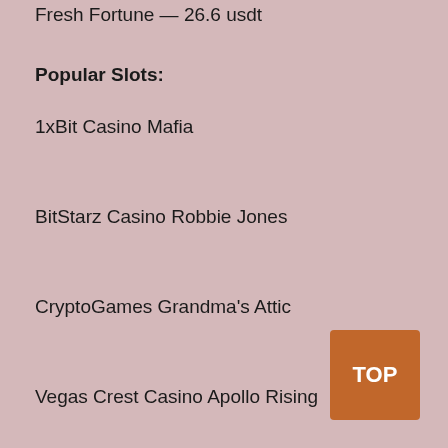Fresh Fortune — 26.6 usdt
Popular Slots:
1xBit Casino Mafia
BitStarz Casino Robbie Jones
CryptoGames Grandma's Attic
Vegas Crest Casino Apollo Rising
Cloudbet Casino Magic Wilds
TOP